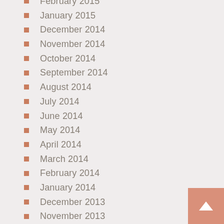February 2015
January 2015
December 2014
November 2014
October 2014
September 2014
August 2014
July 2014
June 2014
May 2014
April 2014
March 2014
February 2014
January 2014
December 2013
November 2013
August 2013
July 2013